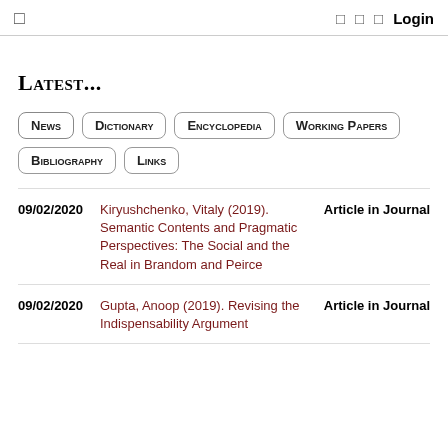Login
Latest...
News
Dictionary
Encyclopedia
Working Papers
Bibliography
Links
09/02/2020   Kiryushchenko, Vitaly (2019). Semantic Contents and Pragmatic Perspectives: The Social and the Real in Brandom and Peirce   Article in Journal
09/02/2020   Gupta, Anoop (2019). Revising the Indispensability Argument   Article in Journal